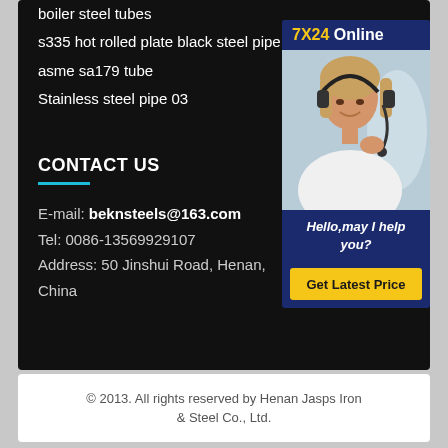boiler steel tubes
s335 hot rolled plate black steel pipe for construction
asme sa179 tube
Stainless steel pipe 03
CONTACT US
E-mail: beknsteels@163.com
Tel: 0086-13569929107
Address: 50 Jinshui Road, Henan, China
[Figure (photo): Customer service representative with headset smiling, with '7X24 Online' header, 'Hello, may I help you?' message, and 'Get Latest Price' button]
© 2013. All rights reserved by Henan Jasps Iron & Steel Co., Ltd.